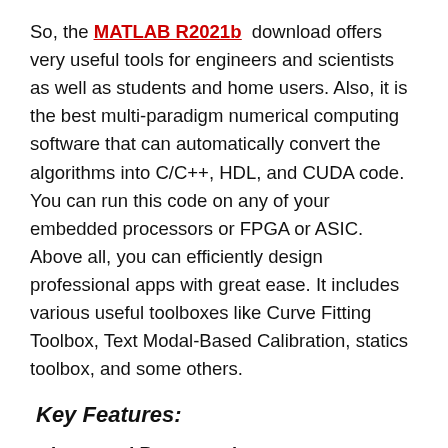So, the MATLAB R2021b download offers very useful tools for engineers and scientists as well as students and home users. Also, it is the best multi-paradigm numerical computing software that can automatically convert the algorithms into C/C++, HDL, and CUDA code. You can run this code on any of your embedded processors or FPGA or ASIC. Above all, you can efficiently design professional apps with great ease. It includes various useful toolboxes like Curve Fitting Toolbox, Text Modal-Based Calibration, statics toolbox, and some others.
Key Features:
Improved Programming: